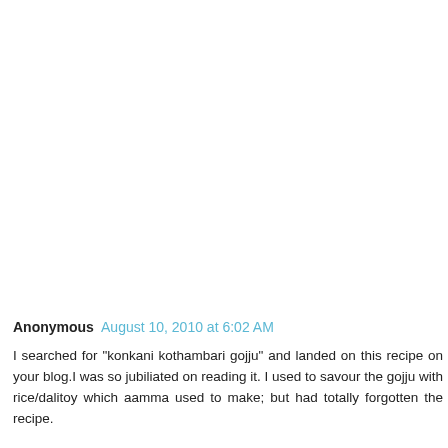Anonymous  August 10, 2010 at 6:02 AM
I searched for "konkani kothambari gojju" and landed on this recipe on your blog.I was so jubiliated on reading it. I used to savour the gojju with rice/dalitoy which aamma used to make; but had totally forgotten the recipe.